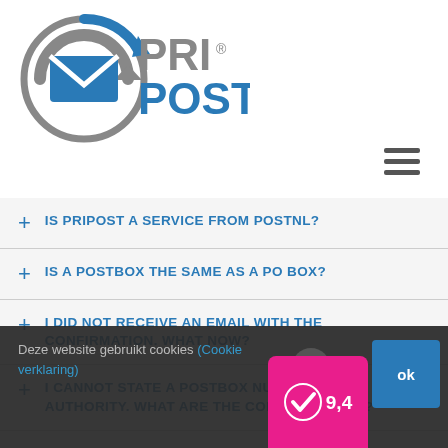[Figure (logo): PriPost logo with circular arrow icon and envelope, text reads PRI®POST]
+ IS PRIPOST A SERVICE FROM POSTNL?
+ IS A POSTBOX THE SAME AS A PO BOX?
+ I DID NOT RECEIVE AN EMAIL WITH THE CONFIRMATION. WHAT NOW?
+ I CANNOT STATE A POSTBOX NUMBER BY AN AUTHORITY. WHAT ARE THE CONSEQUENCES?
+ I ALMOST DON'T RECEIVE ANY MAIL, WHY
Deze website gebruikt cookies (Cookie verklaring)
[Figure (infographic): Rating badge showing 9,4 score with checkmark icon on magenta background]